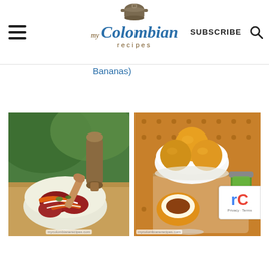my Colombian recipes — SUBSCRIBE
Bananas)
[Figure (photo): A bowl of beet and carrot salad with onion strips, wooden spoon visible, green background with a pepper grinder]
[Figure (photo): A white bowl with three golden fried dough balls (papas rellenas or similar Colombian snack) filled with meat, with a jar of green sauce and brown dotted napkin visible]